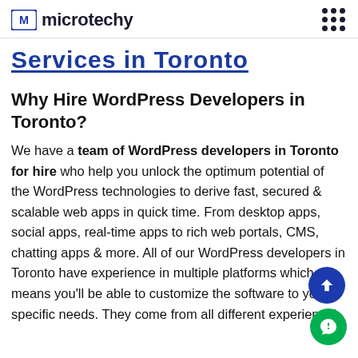microtechy
Services in Toronto
Why Hire WordPress Developers in Toronto?
We have a team of WordPress developers in Toronto for hire who help you unlock the optimum potential of the WordPress technologies to derive fast, secured & scalable web apps in quick time. From desktop apps, social apps, real-time apps to rich web portals, CMS, chatting apps & more. All of our WordPress developers in Toronto have experience in multiple platforms which means you'll be able to customize the software to your specific needs. They come from all different experiential